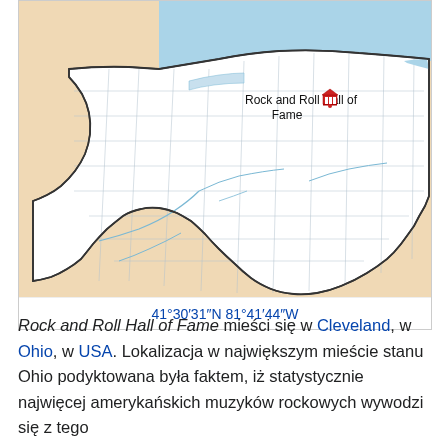[Figure (map): Map of Ohio state showing location of Rock and Roll Hall of Fame with a red museum icon marker near Cleveland in the northeast, Lake Erie visible at top, surrounding states in tan/beige, Ohio counties delineated in light lines, rivers shown in blue.]
41°30′31″N 81°41′44″W
Rock and Roll Hall of Fame mieści się w Cleveland, w Ohio, w USA. Lokalizacja w największym mieście stanu Ohio podyktowana była faktem, iż statystycznie najwięcej amerykańskich muzyków rockowych wywodzi się z tego